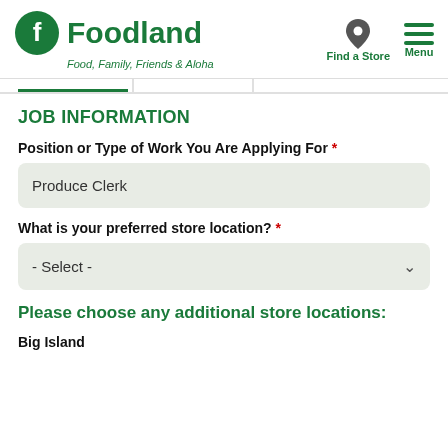[Figure (logo): Foodland logo with green circle F icon and tagline 'Food, Family, Friends & Aloha']
[Figure (other): Find a Store icon (map pin) and Menu icon (hamburger lines)]
JOB INFORMATION
Position or Type of Work You Are Applying For *
Produce Clerk
What is your preferred store location? *
- Select -
Please choose any additional store locations:
Big Island